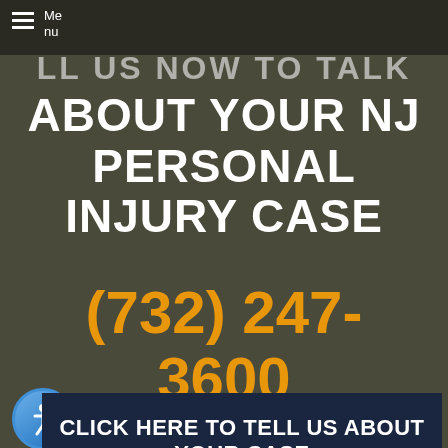Menu
CALL US NOW TO TALK ABOUT YOUR NJ PERSONAL INJURY CASE
(732) 247-3600
CLICK HERE TO TELL US ABOUT YOUR CASE